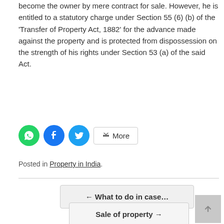become the owner by mere contract for sale. However, he is entitled to a statutory charge under Section 55 (6) (b) of the 'Transfer of Property Act, 1882' for the advance made against the property and is protected from dispossession on the strength of his rights under Section 53 (a) of the said Act.
[Figure (infographic): Social share buttons: WhatsApp (green circle), Facebook (blue circle), Twitter (light blue circle), and a More button with share icon]
Posted in Property in India.
← What to do in case...
Sale of property →